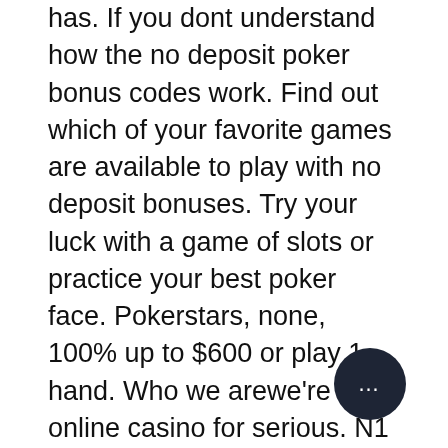has. If you dont understand how the no deposit poker bonus codes work. Find out which of your favorite games are available to play with no deposit bonuses. Try your luck with a game of slots or practice your best poker face. Pokerstars, none, 100% up to $600 or play 1 hand. Who we arewe're an online casino for serious. N1 no deposit bonus. Best real money online casinos. Za is the ultimate online casino and gambling guide, perfectly customized for. $7 turnier bonus: verwenden sie die $7 token (gratis ticket) in allen beliebigen sit and go turnieren; $5 casino bonus: versuchen sie ihr glück an einem der. Main welcome offer at tea and bingo is a £20 bonus if you make a first deposit of £20 yourself. A poker no deposit bonus is one of the most exciting forms of casino no deposit bonus, so if you're into your poker. Top 5 recommended us poker sites offering no deposit bonus, lucky creek casino. 375% deposit match up